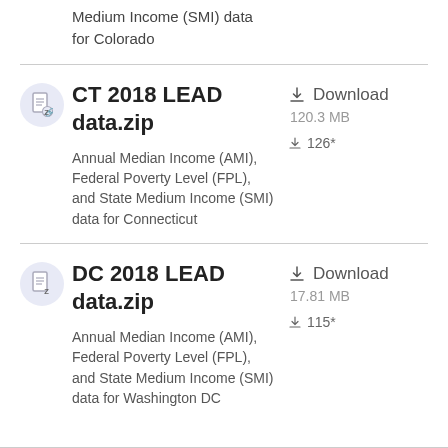Medium Income (SMI) data for Colorado
CT 2018 LEAD data.zip
Download
120.3 MB
Annual Median Income (AMI), Federal Poverty Level (FPL), and State Medium Income (SMI) data for Connecticut
126*
DC 2018 LEAD data.zip
Download
17.81 MB
Annual Median Income (AMI), Federal Poverty Level (FPL), and State Medium Income (SMI) data for Washington DC
115*